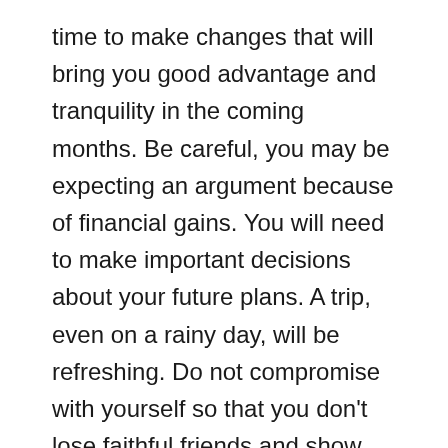time to make changes that will bring you good advantage and tranquility in the coming months. Be careful, you may be expecting an argument because of financial gains. You will need to make important decisions about your future plans. A trip, even on a rainy day, will be refreshing. Do not compromise with yourself so that you don't lose faithful friends and show weakness to your closest people.
During this period, your bowl of love will be full, and may even overflow. Be patient instead of making a major move. You tend to keep your emotions under control. Unexpected new contacts are coming your way and you may not be able to avoid them, but if you decide to conserve them, you will gain universal admiration. Set